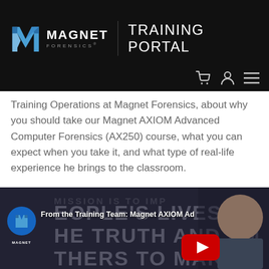[Figure (logo): Magnet Forensics Training Portal logo on black header bar with navigation icons]
Training Operations at Magnet Forensics, about why you should take our Magnet AXIOM Advanced Computer Forensics (AX250) course, what you can expect when you take it, and what type of real-life experience he brings to the classroom.
[Figure (screenshot): YouTube video thumbnail for 'From the Training Team: Magnet AXIOM Advanced...' showing a man in front of a wall with text 'PEOPLE'S LIVES BY THE TRUTH AND EMPOWERS OTHERS TO MAKE' with YouTube play button overlay and Magnet Forensics channel icon]